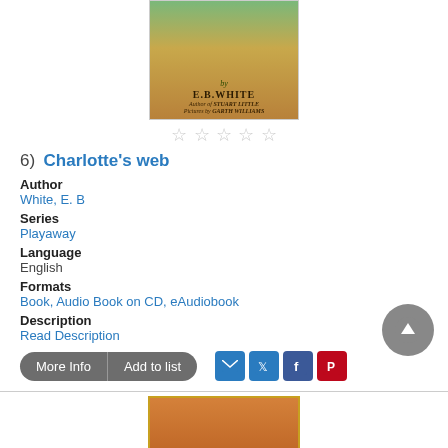[Figure (photo): Charlotte's Web book cover by E.B. White, illustrated by Garth Williams, showing animals on a farm]
[Figure (other): Five empty star rating icons]
6) Charlotte's web
Author
White, E. B
Series
Playaway
Language
English
Formats
Book, Audio Book on CD, eAudiobook
Description
Read Description
More Info  Add to list
[Figure (photo): Orange/brown hardcover book at bottom of page]